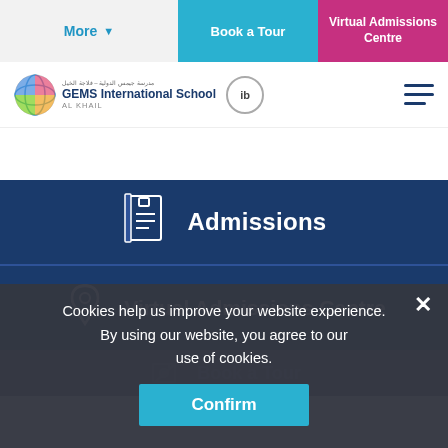More | Book a Tour | Virtual Admissions Centre
[Figure (logo): GEMS International School Al Khail logo with globe icon and IB badge]
Admissions
Virtual Admissions Centre
Cookies help us improve your website experience.
By using our website, you agree to our use of cookies.
Confirm